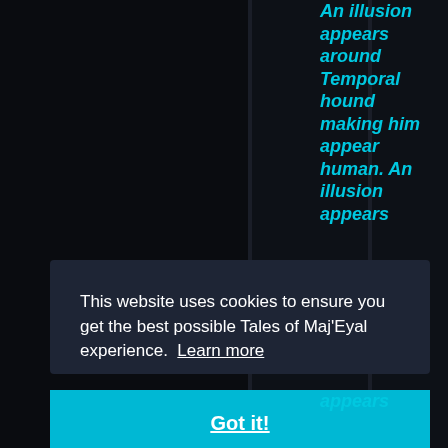[Figure (screenshot): Dark background game interface with two vertical column dividers. The right column contains cyan italic bold text reading 'An illusion appears around Temporal hound making him appear human. An illusion appears']
An illusion appears around Temporal hound making him appear human. An illusion appears
This website uses cookies to ensure you get the best possible Tales of Maj'Eyal experience.  Learn more
Got it!
appears